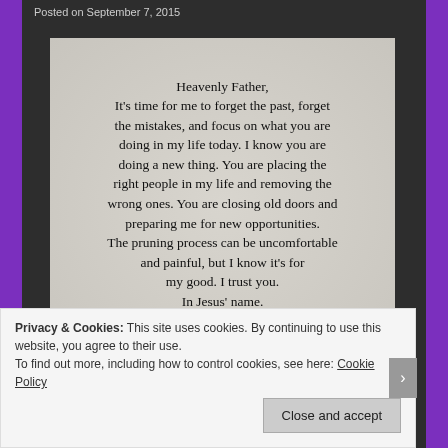Posted on September 7, 2015
[Figure (illustration): Prayer card with text on textured grey background. Text reads: Heavenly Father, It's time for me to forget the past, forget the mistakes, and focus on what you are doing in my life today. I know you are doing a new thing. You are placing the right people in my life and removing the wrong ones. You are closing old doors and preparing me for new opportunities. The pruning process can be uncomfortable and painful, but I know it's for my good. I trust you. In Jesus' name. @pastornaeem]
Privacy & Cookies: This site uses cookies. By continuing to use this website, you agree to their use.
To find out more, including how to control cookies, see here: Cookie Policy
Close and accept